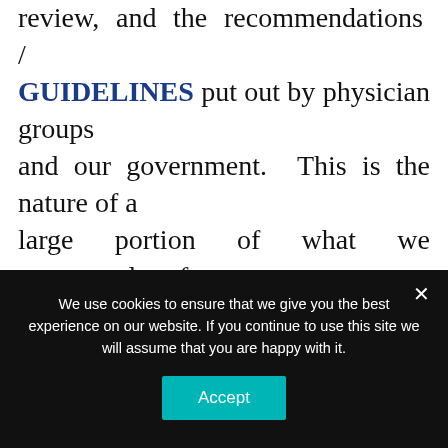review, and the recommendations / GUIDELINES put out by physician groups and our government. This is the nature of a large portion of what we erroneously refer to as EVIDENCE-BASED MEDICINE. Fortunately, if you click on the previous link you can see how this hypocrisy is being brought to the public eye via the worldwide web.
We use cookies to ensure that we give you the best experience on our website. If you continue to use this site we will assume that you are happy with it.